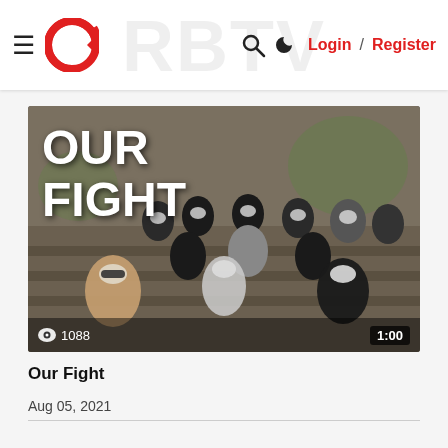Login / Register
[Figure (photo): Group photo of masked individuals with text overlay reading OUR FIGHT, views count 1088 and duration 1:00]
Our Fight
Aug 05, 2021